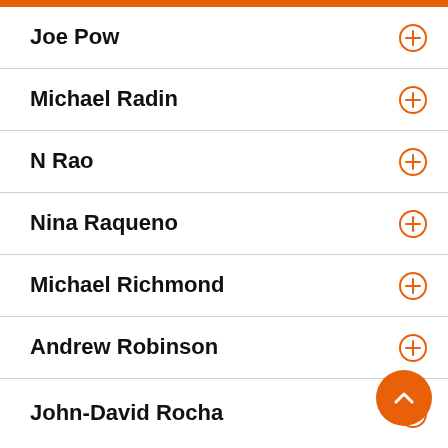Joe Pow
Michael Radin
N Rao
Nina Raqueno
Michael Richmond
Andrew Robinson
John-David Rocha